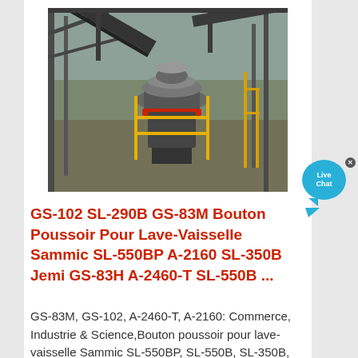[Figure (photo): Industrial cone crusher or similar heavy machinery photographed from above in a factory or mining facility setting, with metal structures, conveyor belts, and yellow safety railings visible.]
GS-102 SL-290B GS-83M Bouton Poussoir Pour Lave-Vaisselle Sammic SL-550BP A-2160 SL-350B Jemi GS-83H A-2460-T SL-550B ...
GS-83M, GS-102, A-2460-T, A-2160: Commerce, Industrie & Science,Bouton poussoir pour lave-vaisselle Sammic SL-550BP, SL-550B, SL-350B, SL-290B